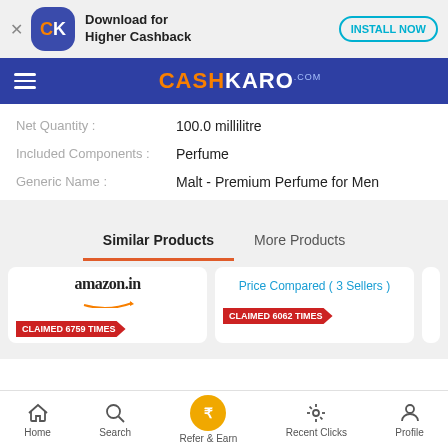[Figure (screenshot): CashKaro app download banner with CK logo, 'Download for Higher Cashback' text, and INSTALL NOW button]
CASHKARO.com
Net Quantity : 100.0 millilitre
Included Components : Perfume
Generic Name : Malt - Premium Perfume for Men
Similar Products | More Products
[Figure (screenshot): Amazon.in card with CLAIMED 6759 TIMES badge]
[Figure (screenshot): Price Compared (3 Sellers) card with CLAIMED 6062 TIMES badge]
Home | Search | Refer & Earn | Recent Clicks | Profile